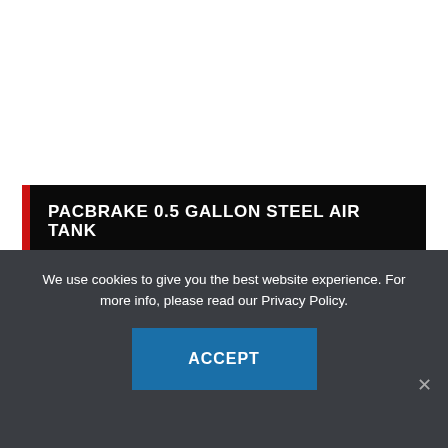PACBRAKE 0.5 GALLON STEEL AIR TANK
PART #C11940
We use cookies to give you the best website experience. For more info, please read our Privacy Policy.
ACCEPT